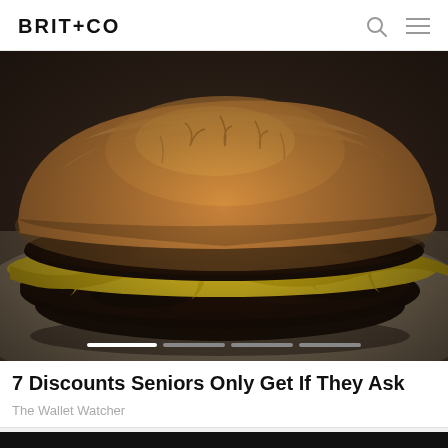BRIT+CO
[Figure (photo): Close-up photo of a double cheeseburger with melted yellow cheese and a toasted bun, sitting on crinkled white paper in a dim/dark setting.]
7 Discounts Seniors Only Get If They Ask
The Wallet Watcher